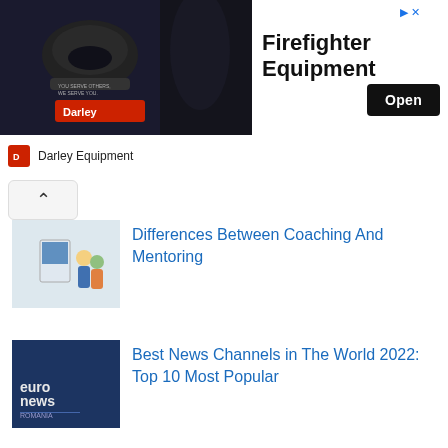[Figure (infographic): Advertisement banner for Darley Equipment showing firefighter equipment. Dark image of firefighter on left, bold text 'Firefighter Equipment' in center, black 'Open' button on right, Darley Equipment logo below.]
Differences Between Coaching And Mentoring
Best News Channels in The World 2022: Top 10 Most Popular
Hardest Jobs In The World: Top 10 Most Difficult
Why Students Hate Maths: 14 Reasons